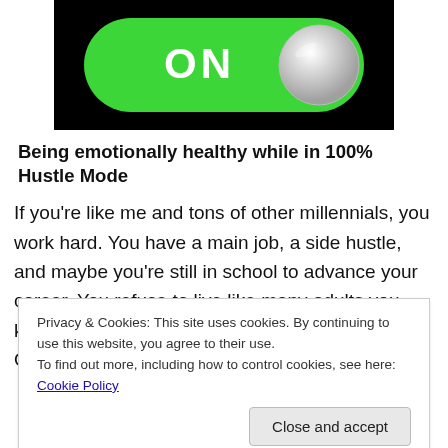[Figure (illustration): A green toggle switch in the ON position with a silver/white circular slider on the right, on a black background.]
Being emotionally healthy while in 100% Hustle Mode
If you’re like me and tons of other millennials, you work hard. You have a main job, a side hustle, and maybe you’re still in school to advance your career. You refuse to live like many adults you know, who’ve hated their jobs their whole lives. One day—soon—you will turn your side
Privacy & Cookies: This site uses cookies. By continuing to use this website, you agree to their use.
To find out more, including how to control cookies, see here: Cookie Policy
Close and accept